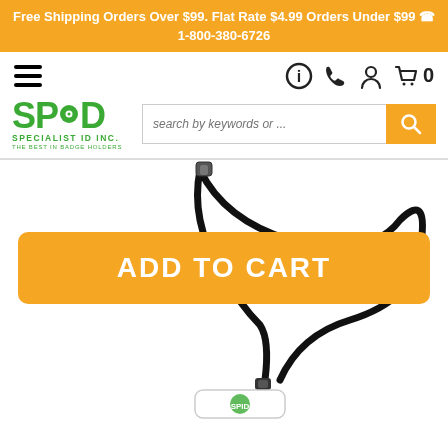Free Shipping Orders Over $99. Flat Rate $4.99 Orders Under $99 ☎ 1-800-380-6726
[Figure (logo): SPID Specialist ID Inc. logo - green text with circular icon]
search by keywords or ...
[Figure (photo): Black lanyard/neck strap with badge holder showing SPID logo badge, product photo on white background]
ADD TO CART